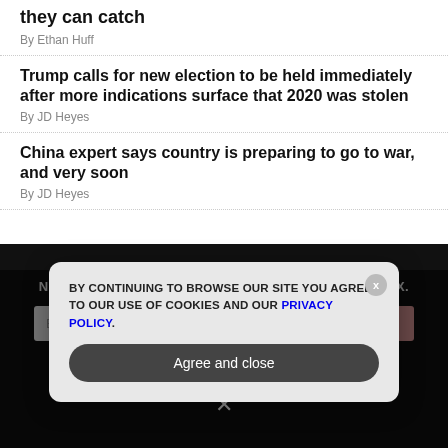they can catch
By Ethan Huff
Trump calls for new election to be held immediately after more indications surface that 2020 was stolen
By JD Heyes
China expert says country is preparing to go to war, and very soon
By JD Heyes
GET THE NON-GMO NEWS INDEPENDENT MEDIA NEWSLETTER DELIVERED STRAIGHT TO YOUR INBOX.
Enter Your Email Address
SUBSCRIBE
BY CONTINUING TO BROWSE OUR SITE YOU AGREE TO OUR USE OF COOKIES AND OUR PRIVACY POLICY.
Agree and close